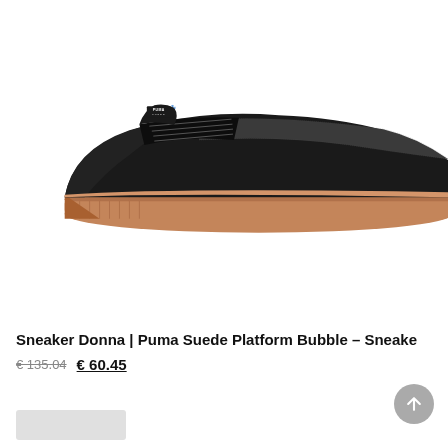[Figure (photo): Black Puma Suede Platform Bubble sneaker with gum/caramel colored thick platform sole, photographed from the side on a white background. The shoe has a black suede upper with a glitter/shimmer stripe, white Puma logo on the tongue, and lace-up closure.]
Sneaker Donna | Puma Suede Platform Bubble – Sneaker
€ 135.04 € 60.45